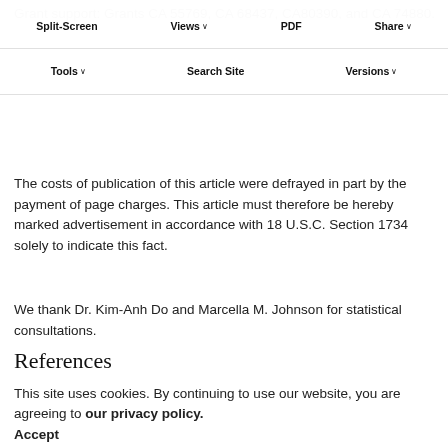Grant support: Grants CA 55769, CA 68437, CA80390, and CA 74880.
Split-Screen | Views ∨ | PDF | Share ∨ | Tools ∨ | Search Site | Versions ∨
The costs of publication of this article were defrayed in part by the payment of page charges. This article must therefore be hereby marked advertisement in accordance with 18 U.S.C. Section 1734 solely to indicate this fact.
We thank Dr. Kim-Anh Do and Marcella M. Johnson for statistical consultations.
References
1. Rouse J, Jackson SP. Interfaces between the detection, signaling, and repair of DNA damage. Science 2002; 297: 547–51.
This site uses cookies. By continuing to use our website, you are agreeing to our privacy policy. Accept
2. Berwick M, Vineis P. Markers of DNA repair and